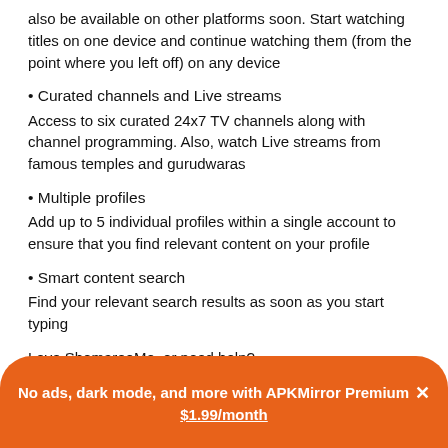also be available on other platforms soon. Start watching titles on one device and continue watching them (from the point where you left off) on any device
• Curated channels and Live streams
Access to six curated 24x7 TV channels along with channel programming. Also, watch Live streams from famous temples and gurudwaras
• Multiple profiles
Add up to 5 individual profiles within a single account to ensure that you find relevant content on your profile
• Smart content search
Find your relevant search results as soon as you start typing
Love ShemarooMe, or need help?
Follow us on Instagram: www.instagram.com/shemaroome
Like us on Facebook: www.facebook.com/ShemarooMe
Follow us on Twitter: twitter.com/ShemarooMe
No ads, dark mode, and more with APKMirror Premium ×
$1.99/month